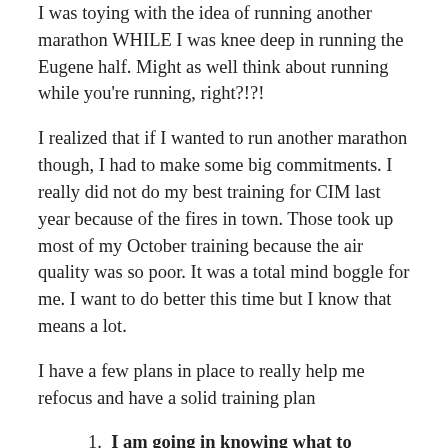I was toying with the idea of running another marathon WHILE I was knee deep in running the Eugene half. Might as well think about running while you're running, right?!?!
I realized that if I wanted to run another marathon though, I had to make some big commitments. I really did not do my best training for CIM last year because of the fires in town. Those took up most of my October training because the air quality was so poor. It was a total mind boggle for me. I want to do better this time but I know that means a lot.
I have a few plans in place to really help me refocus and have a solid training plan
I am going in knowing what to expect. My first marathon I trained on my own with